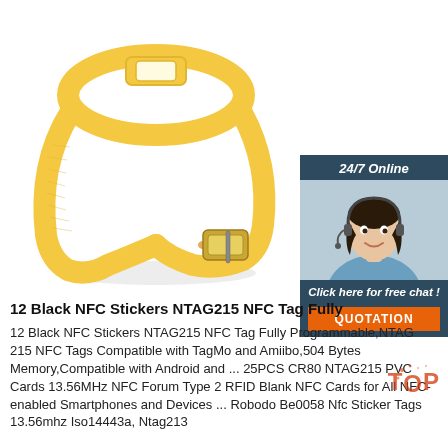[Figure (photo): Yellow NFC wristband with fabric strap and metal buckle clasp, product photo on white background]
[Figure (photo): Sidebar widget with dark blue background, '24/7 Online' header, photo of female customer service agent with headset, 'Click here for free chat!' text, and orange QUOTATION button]
12 Black NFC Stickers NTAG215 NFC Tag Fully
12 Black NFC Stickers NTAG215 NFC Tag Fully Programmable,NTAG 215 NFC Tags Compatible with TagMo and Amiibo,504 Bytes Memory,Compatible with Android and ... 25PCS CR80 NTAG215 PVC Cards 13.56MHz NFC Forum Type 2 RFID Blank NFC Cards for All NFC-enabled Smartphones and Devices ... Robodo Be0058 Nfc Sticker Tags 13.56mhz Iso14443a, Ntag213